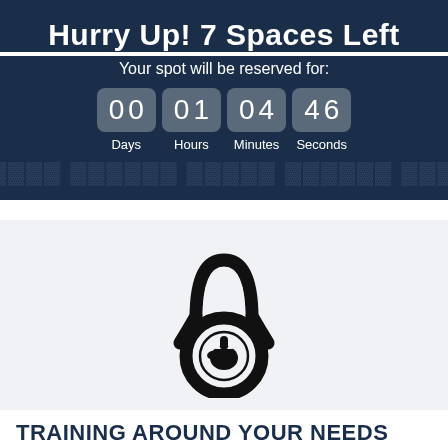Hurry Up! 7 Spaces Left
Your spot will be reserved for:
[Figure (other): Countdown timer showing 00 days, 01 hours, 04 minutes, 46 seconds]
[Figure (logo): Kettlebell icon with a fist/pointing finger inside the weight ball portion]
TRAINING AROUND YOUR NEEDS
This isn't a typical gym membership where we leave you to "get on with it". Each session is run by one of our dedicated coaches who will customise